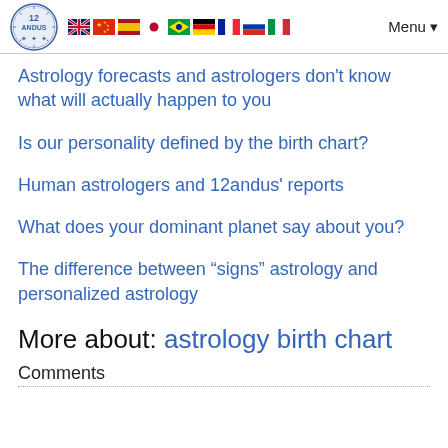12andus logo, flags (UK, China, Spain, Japan, Brazil, Germany, France, Russia, Italy), Menu
Astrology forecasts and astrologers don't know what will actually happen to you
Is our personality defined by the birth chart?
Human astrologers and 12andus' reports
What does your dominant planet say about you?
The difference between “signs” astrology and personalized astrology
More about: astrology birth chart
Comments